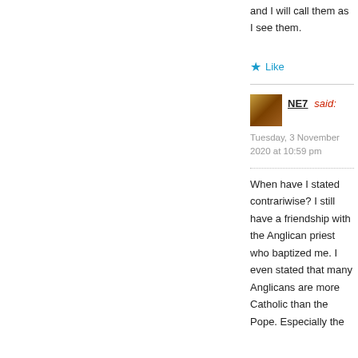and I will call them as I see them.
Like
NE7 said:
Tuesday, 3 November 2020 at 10:59 pm
When have I stated contrariwise? I still have a friendship with the Anglican priest who baptized me. I even stated that many Anglicans are more Catholic than the Pope. Especially the